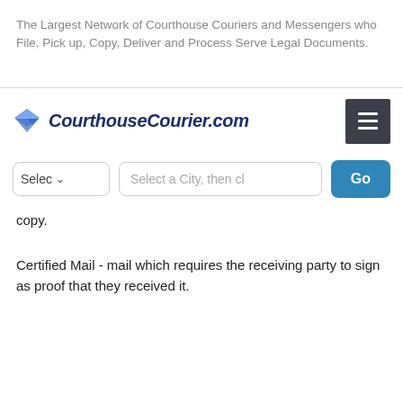The Largest Network of Courthouse Couriers and Messengers who File, Pick up, Copy, Deliver and Process Serve Legal Documents.
[Figure (logo): CourthouseCourier.com logo with blue diamond envelope icon and dark blue italic bold text]
copy.
Certified Mail - mail which requires the receiving party to sign as proof that they received it.